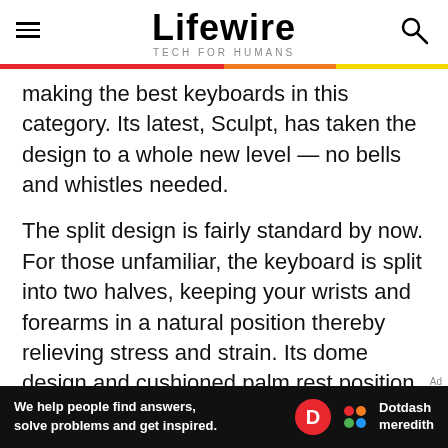Lifewire TECH FOR HUMANS
making the best keyboards in this category. Its latest, Sculpt, has taken the design to a whole new level — no bells and whistles needed.
The split design is fairly standard by now. For those unfamiliar, the keyboard is split into two halves, keeping your wrists and forearms in a natural position thereby relieving stress and strain. Its dome design and cushioned palm rest position the wrists at a more comfortable angle. A numeric keypad is cleverly separated. You can use it in whichever way suits you.
[Figure (logo): Dotdash Meredith advertisement banner — black background, red D circle logo, colorful dots logo, text: We help people find answers, solve problems and get inspired.]